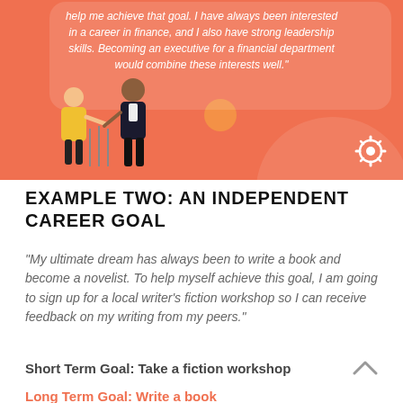[Figure (illustration): Orange background illustration showing two people figures (one in yellow jacket, one in dark suit) with speech bubble text about career in finance and financial department executive role. HubSpot logo in bottom right corner.]
EXAMPLE TWO: AN INDEPENDENT CAREER GOAL
“My ultimate dream has always been to write a book and become a novelist. To help myself achieve this goal, I am going to sign up for a local writer’s fiction workshop so I can receive feedback on my writing from my peers.”
Short Term Goal: Take a fiction workshop
Long Term Goal: Write a book